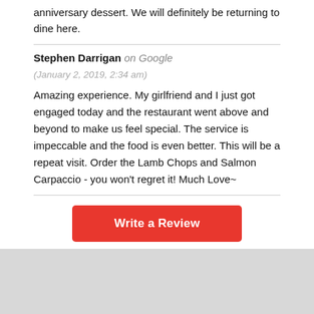anniversary dessert. We will definitely be returning to dine here.
Stephen Darrigan on Google
(January 2, 2019, 2:34 am)
Amazing experience. My girlfriend and I just got engaged today and the restaurant went above and beyond to make us feel special. The service is impeccable and the food is even better. This will be a repeat visit. Order the Lamb Chops and Salmon Carpaccio - you won't regret it! Much Love~
[Figure (other): Write a Review button (red rounded rectangle with white bold text)]